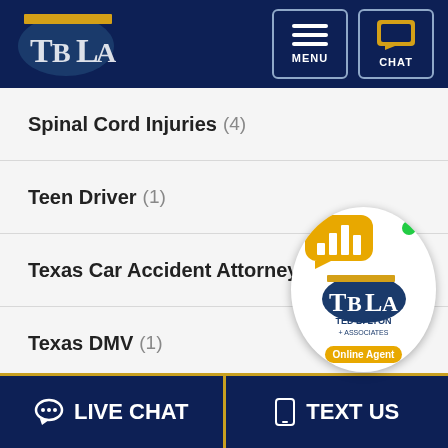[Figure (logo): TBLA (Ted B. Lyon & Associates) law firm logo in white and yellow on dark navy background, with MENU and CHAT buttons on the right]
Spinal Cord Injuries (4)
Teen Driver (1)
Texas Car Accident Attorney (2)
Texas DMV (1)
Texas Lawyer (1)
Texting While Driving (1)
Traffic Enforcement (1)
[Figure (logo): Ted B. Lyon Associates live chat widget overlay with yellow chat bubble icon, TBLA circular logo, and Online Agent badge]
LIVE CHAT   TEXT US